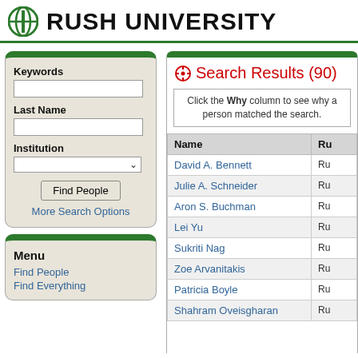RUSH UNIVERSITY
Keywords
Last Name
Institution
Find People
More Search Options
Menu
Find People
Find Everything
Search Results (90)
Click the Why column to see why a person matched the search.
| Name | Ru... |
| --- | --- |
| David A. Bennett | Ru |
| Julie A. Schneider | Ru |
| Aron S. Buchman | Ru |
| Lei Yu | Ru |
| Sukriti Nag | Ru |
| Zoe Arvanitakis | Ru |
| Patricia Boyle | Ru |
| Shahram Oveisgharan | Ru |